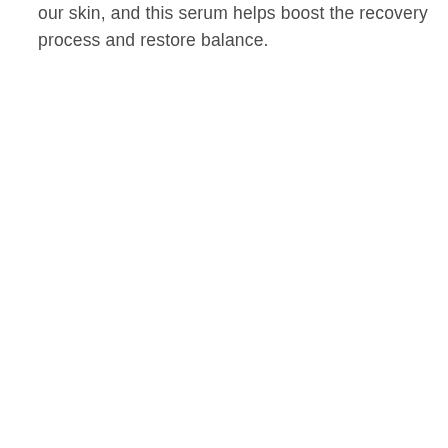our skin, and this serum helps boost the recovery process and restore balance.